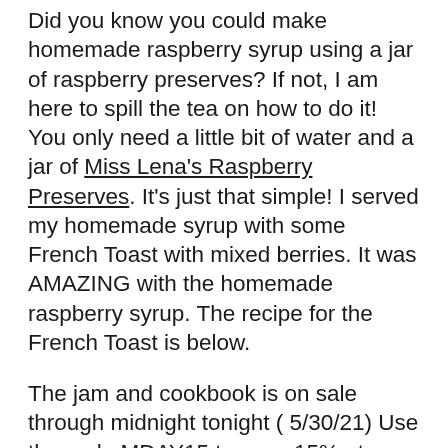Did you know you could make homemade raspberry syrup using a jar of raspberry preserves? If not, I am here to spill the tea on how to do it! You only need a little bit of water and a jar of Miss Lena's Raspberry Preserves. It's just that simple! I served my homemade syrup with some French Toast with mixed berries. It was AMAZING with the homemade raspberry syrup. The recipe for the French Toast is below.
The jam and cookbook is on sale through midnight tonight ( 5/30/21) Use the code MDAY15 to save 15% at checkout. If you make this recipe, make sure to tag me on social media! I would love to how it turned out.